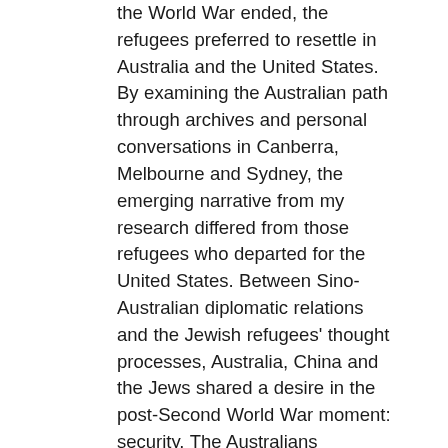the World War ended, the refugees preferred to resettle in Australia and the United States.  By examining the Australian path through archives and personal conversations in Canberra, Melbourne and Sydney, the emerging narrative from my research differed from those refugees who departed for the United States. Between Sino-Australian diplomatic relations and the Jewish refugees' thought processes, Australia, China and the Jews shared a desire in the post-Second World War moment: security. The Australians propagandized a population crisis for national defense; the Chinese sought to expel foreigners who occupied its lands since 1842 and economic rehabilitation; the Jewish refugees desired freedom from